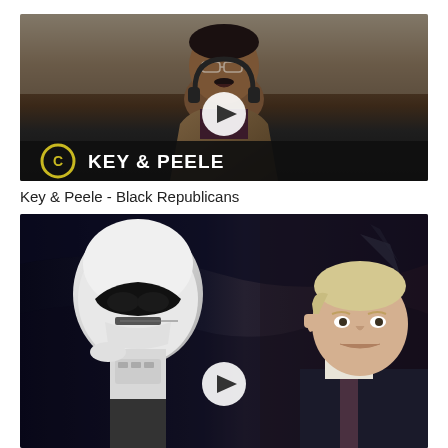[Figure (screenshot): Video thumbnail for Key & Peele - Black Republicans. Shows a man with glasses and headphones looking up, with Comedy Central logo and 'KEY & PEELE' text at bottom. Play button overlay in center.]
Key & Peele - Black Republicans
[Figure (screenshot): Video thumbnail showing a Star Wars Stormtrooper on the left and an older man in a suit saluting on the right, with a play button overlay.]